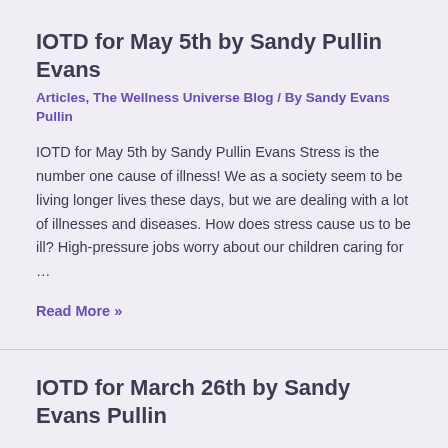IOTD for May 5th by Sandy Pullin Evans
Articles, The Wellness Universe Blog / By Sandy Evans Pullin
IOTD for May 5th by Sandy Pullin Evans Stress is the number one cause of illness! We as a society seem to be living longer lives these days, but we are dealing with a lot of illnesses and diseases. How does stress cause us to be ill? High-pressure jobs worry about our children caring for …
Read More »
IOTD for March 26th by Sandy Evans Pullin